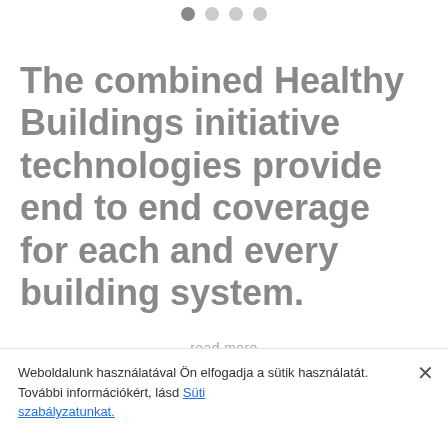[Figure (other): Pagination dots: one filled dark gray dot followed by three lighter gray dots]
The combined Healthy Buildings initiative technologies provide end to end coverage for each and every building system.
read more
[Figure (other): Chevron/arrow pointing downward]
Weboldalunk használatával Ön elfogadja a sütik használatát. További információkért, lásd  Süti szabályzatunkat.